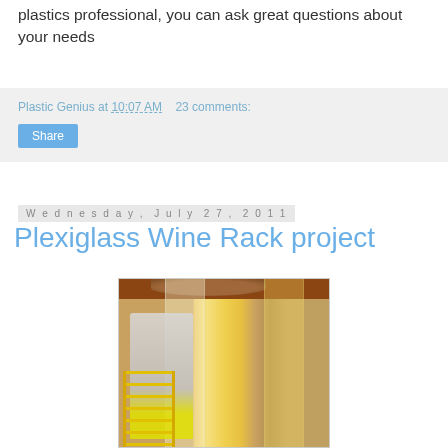plastics professional, you can ask great questions about your needs
Plastic Genius at 10:07 AM    23 comments:
Share
Wednesday, July 27, 2011
Plexiglass Wine Rack project
[Figure (photo): A person on a yellow ladder installing or working on a tall cylindrical plexiglass wine rack structure that glows with warm light, inside a large interior space under construction. A curved wooden ceiling disk is visible above the structure.]